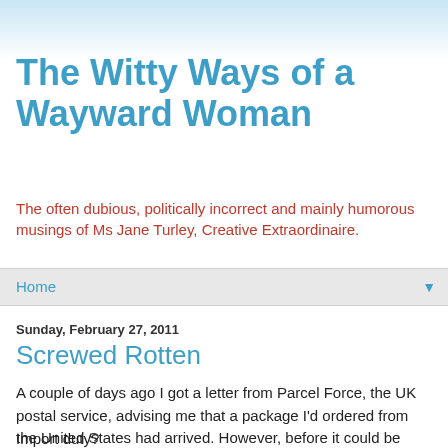The Witty Ways of a Wayward Woman
The often dubious, politically incorrect and mainly humorous musings of Ms Jane Turley, Creative Extraordinaire.
Home
Sunday, February 27, 2011
Screwed Rotten
A couple of days ago I got a letter from Parcel Force, the UK postal service, advising me that a package I'd ordered from the United States had arrived. However, before it could be delivered I would have to pay import duty.
Import duty?